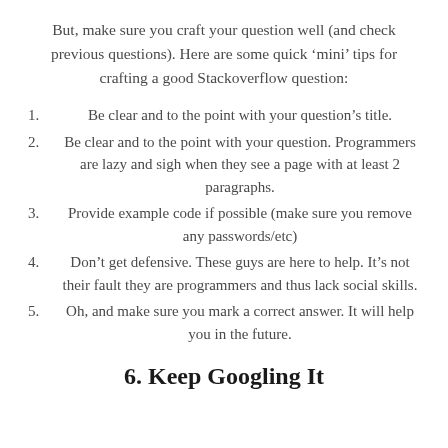But, make sure you craft your question well (and check previous questions). Here are some quick ‘mini’ tips for crafting a good Stackoverflow question:
1. Be clear and to the point with your question’s title.
2. Be clear and to the point with your question. Programmers are lazy and sigh when they see a page with at least 2 paragraphs.
3. Provide example code if possible (make sure you remove any passwords/etc)
4. Don’t get defensive. These guys are here to help. It’s not their fault they are programmers and thus lack social skills.
5. Oh, and make sure you mark a correct answer. It will help you in the future.
6. Keep Googling It